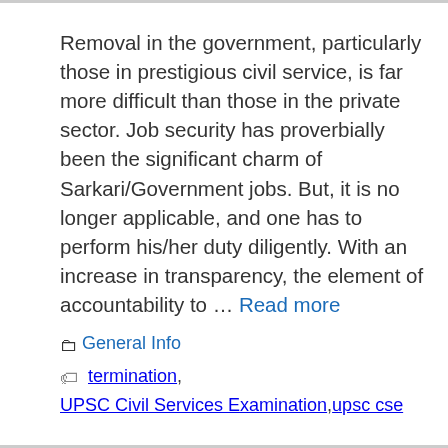Removal in the government, particularly those in prestigious civil service, is far more difficult than those in the private sector. Job security has proverbially been the significant charm of Sarkari/Government jobs. But, it is no longer applicable, and one has to perform his/her duty diligently. With an increase in transparency, the element of accountability to … Read more
General Info
termination, UPSC Civil Services Examination, upsc cse